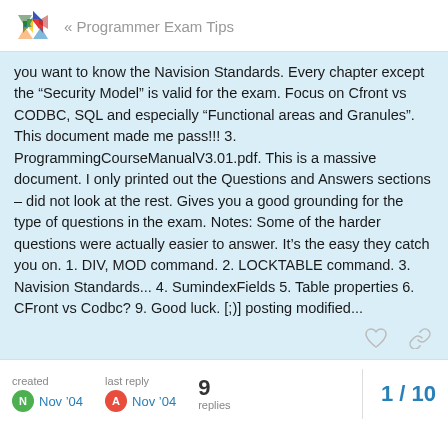Programmer Exam Tips
you want to know the Navision Standards. Every chapter except the “Security Model” is valid for the exam. Focus on Cfront vs CODBC, SQL and especially “Functional areas and Granules”. This document made me pass!!! 3. ProgrammingCourseManualV3.01.pdf. This is a massive document. I only printed out the Questions and Answers sections – did not look at the rest. Gives you a good grounding for the type of questions in the exam. Notes: Some of the harder questions were actually easier to answer. It’s the easy they catch you on. 1. DIV, MOD command. 2. LOCKTABLE command. 3. Navision Standards... 4. SumindexFields 5. Table properties 6. CFront vs Codbc? 9. Good luck. [;)] posting modified...
created Nov '04   last reply Nov '04   9 replies   1 / 10